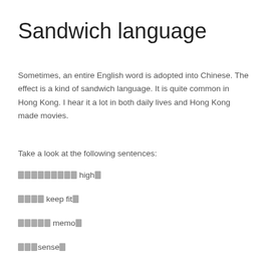Sandwich language
Sometimes, an entire English word is adopted into Chinese. The effect is a kind of sandwich language. It is quite common in Hong Kong. I hear it a lot in both daily lives and Hong Kong made movies.
Take a look at the following sentences:
[Chinese characters] high[Chinese character]
[Chinese characters] keep fit[Chinese character]
[Chinese characters] memo[Chinese character]
[Chinese characters]sense[Chinese character]